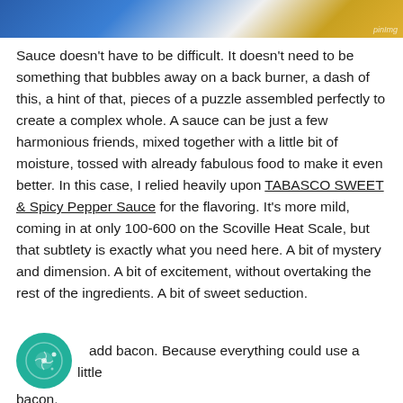[Figure (photo): Partial photo strip at top showing blue, white and gold/yellow colors, likely fabric or food styling]
Sauce doesn't have to be difficult. It doesn't need to be something that bubbles away on a back burner, a dash of this, a hint of that, pieces of a puzzle assembled perfectly to create a complex whole. A sauce can be just a few harmonious friends, mixed together with a little bit of moisture, tossed with already fabulous food to make it even better. In this case, I relied heavily upon TABASCO SWEET & Spicy Pepper Sauce for the flavoring. It's more mild, coming in at only 100-600 on the Scoville Heat Scale, but that subtlety is exactly what you need here. A bit of mystery and dimension. A bit of excitement, without overtaking the rest of the ingredients. A bit of sweet seduction.
Then add bacon. Because everything could use a little bacon.